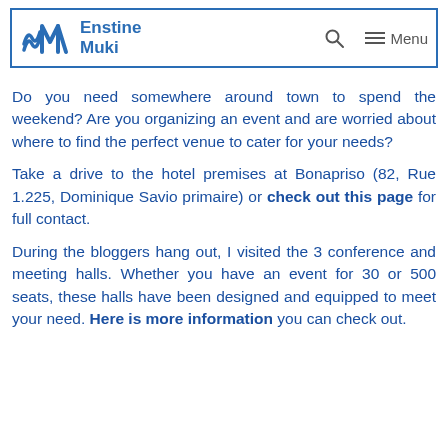Enstine Muki — Menu
Do you need somewhere around town to spend the weekend? Are you organizing an event and are worried about where to find the perfect venue to cater for your needs?
Take a drive to the hotel premises at Bonapriso (82, Rue 1.225, Dominique Savio primaire) or check out this page for full contact.
During the bloggers hang out, I visited the 3 conference and meeting halls. Whether you have an event for 30 or 500 seats, these halls have been designed and equipped to meet your need. Here is more information you can check out.